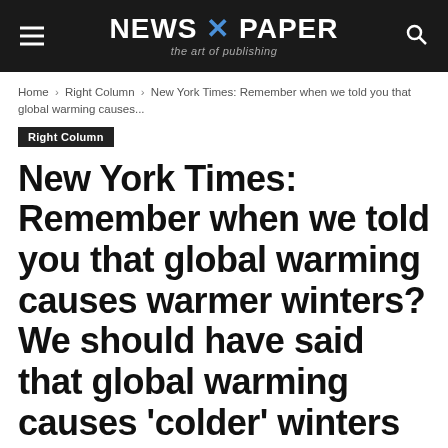NEWS X PAPER — the art of publishing
Home › Right Column › New York Times: Remember when we told you that global warming causes...
Right Column
New York Times: Remember when we told you that global warming causes warmer winters? We should have said that global warming causes 'colder' winters
By Marc Morano – January 26, 2011  370  0